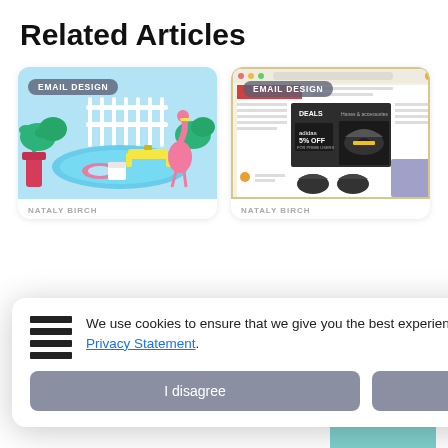Related Articles
[Figure (screenshot): Left article card with EMAIL DESIGN badge over a colorful 3D illustration of a pool scene with flamingo and lounge chairs on a light blue background]
NATALY BIRCH
[Figure (screenshot): Right article card with EMAIL DESIGN badge over a screenshot of a browser showing an email newsletter layout with Adidas 5% OFF promotion and shoe images]
NATALY BIRCH
We use cookies to ensure that we give you the best experience on our website. Privacy Statement.
I disagree
I agree
uld Not
or Gmail
keting